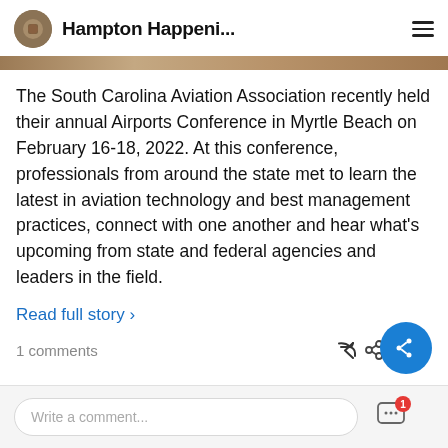Hampton Happeni...
The South Carolina Aviation Association recently held their annual Airports Conference in Myrtle Beach on February 16-18, 2022. At this conference, professionals from around the state met to learn the latest in aviation technology and best management practices, connect with one another and hear what’s upcoming from state and federal agencies and leaders in the field.
Read full story ›
1 comments
Share
Write a comment...